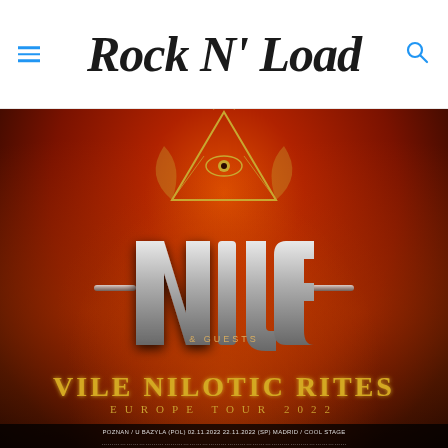Rock N' Load
[Figure (photo): Nile band tour poster for 'Vile Nilotic Rites Europe Tour 2022' featuring dramatic fiery red/orange background with stone statues, an Eye of Ra triangle symbol, stylized metallic 'Nile' band logo in silver, text '& Guests', and tour date listings at bottom including Poznan, Madrid and other European cities.]